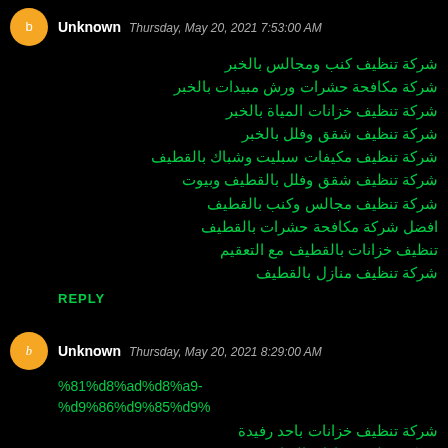Unknown  Thursday, May 20, 2021 7:53:00 AM
شركة تنظيف كنب ومجالس بالخبر
شركة مكافحة حشرات ورش مبيدات بالخبر
شركة تنظيف خزانات المياة بالخبر
شركة تنظيف شقق وفلل بالخبر
شركة تنظيف مكيفات سبليت وشباك بالقطيف
شركة تنظيف شقق وفلل بالقطيف وبيوت
شركة تنظيف مجالس وكنب بالقطيف
افضل شركة مكافحة حشرات بالقطيف
تنظيف خزانات بالقطيف مع التعقيم
شركة تنظيف منازل بالقطيف
REPLY
Unknown  Thursday, May 20, 2021 8:29:00 AM
%81%d8%ad%d8%a9-%d9%86%d9%85%d9%
شركة تنظيف خزانات باحد رفيدة
شركة تنظيف منازل بالرياض
شركة نقل عفش بالرياض
شركة تنظيف خزانات بالدمام
شركة تنظيف مجالس وكنب بالدمام